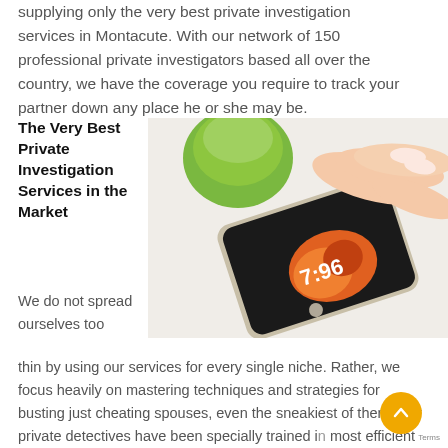supplying only the very best private investigation services in Montacute. With our network of 150 professional private investigators based all over the country, we have the coverage you require to track your partner down any place he or she may be.
The Very Best Private Investigation Services in the Market
[Figure (photo): A hand with manicured nails tapping a smartphone (iPhone), with a green apple/bowl visible in the background on a white surface.]
We do not spread ourselves too thin by using our services for every single niche. Rather, we focus heavily on mastering techniques and strategies for busting just cheating spouses, even the sneakiest of them. Our private detectives have been specially trained in the most efficient personal security techniques, thus making